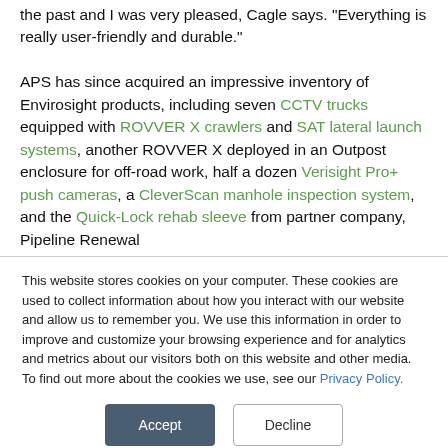the past and I was very pleased, Cagle says. Everything is really user-friendly and durable."

APS has since acquired an impressive inventory of Envirosight products, including seven CCTV trucks equipped with ROVVER X crawlers and SAT lateral launch systems, another ROVVER X deployed in an Outpost enclosure for off-road work, half a dozen Verisight Pro+ push cameras, a CleverScan manhole inspection system, and the Quick-Lock rehab sleeve from partner company, Pipeline Renewal
This website stores cookies on your computer. These cookies are used to collect information about how you interact with our website and allow us to remember you. We use this information in order to improve and customize your browsing experience and for analytics and metrics about our visitors both on this website and other media. To find out more about the cookies we use, see our Privacy Policy.